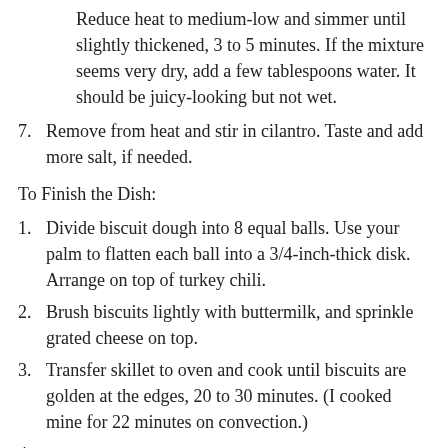Reduce heat to medium-low and simmer until slightly thickened, 3 to 5 minutes. If the mixture seems very dry, add a few tablespoons water. It should be juicy-looking but not wet.
7. Remove from heat and stir in cilantro. Taste and add more salt, if needed.
To Finish the Dish:
1. Divide biscuit dough into 8 equal balls. Use your palm to flatten each ball into a 3/4-inch-thick disk. Arrange on top of turkey chili.
2. Brush biscuits lightly with buttermilk, and sprinkle grated cheese on top.
3. Transfer skillet to oven and cook until biscuits are golden at the edges, 20 to 30 minutes. (I cooked mine for 22 minutes on convection.)